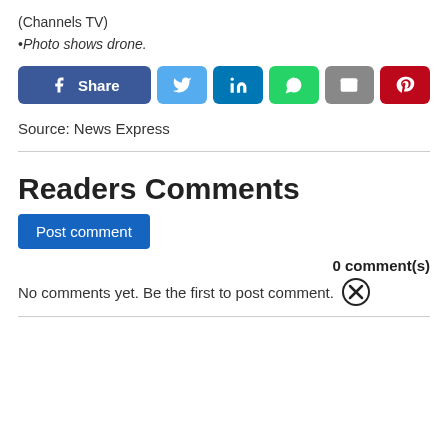(Channels TV)
•Photo shows drone.
[Figure (other): Social media share buttons: Facebook Share, Twitter, LinkedIn, WhatsApp, Email, Pinterest]
Source: News Express
Readers Comments
Post comment
0 comment(s)
No comments yet. Be the first to post comment.